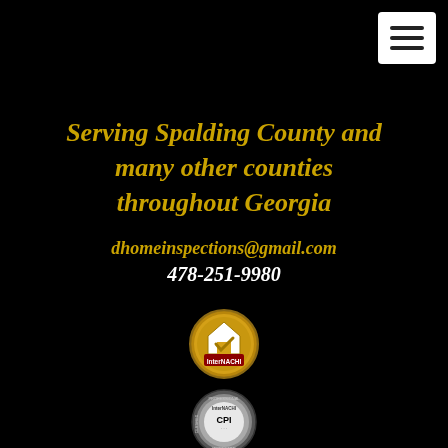[Figure (other): Hamburger menu button (three horizontal lines) in white rounded rectangle, top right corner]
Serving Spalding County and many other counties throughout Georgia
dhomeinspections@gmail.com
478-251-9980
[Figure (logo): InterNACHI certified inspector gold circular badge with house icon]
[Figure (logo): InterNACHI CPI Certified Professional Inspector silver circular badge]
[Figure (logo): BBB Accredited Business logo in white rectangle with blue BBB text and diamond shapes]